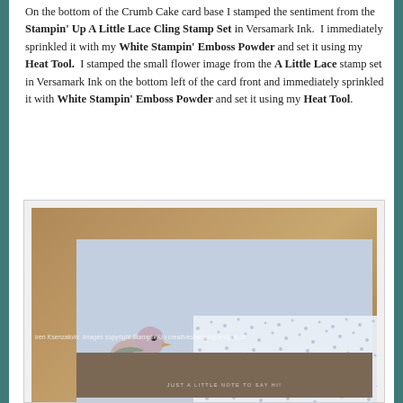On the bottom of the Crumb Cake card base I stamped the sentiment from the Stampin' Up A Little Lace Cling Stamp Set in Versamark Ink. I immediately sprinkled it with my White Stampin' Emboss Powder and set it using my Heat Tool. I stamped the small flower image from the A Little Lace stamp set in Versamark Ink on the bottom left of the card front and immediately sprinkled it with White Stampin' Emboss Powder and set it using my Heat Tool.
[Figure (photo): A handmade greeting card featuring a bird perched on a branch, with a white lace doily overlay on a light blue panel, and a sentiment strip reading 'JUST A LITTLE NOTE TO SAY HI!' on a brown/tan card base. The lace panel has a dotted stamp pattern.]